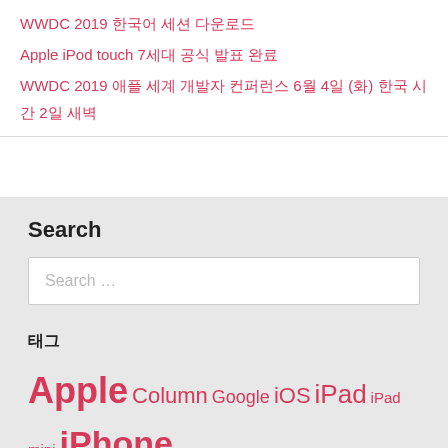WWDC 2019 한국어 세션 다운로드
Apple iPod touch 7세대 공식 발표 완료
WWDC 2019 애플 세계 개발자 컨퍼런스 6월 4일 (화) 한국 시간 2일 새벽
Search
Search …
태그
Apple Column Google iOS iPad iPad mini iPhone iPhone 5 iTunes IT·소셜미디어 KMUG Mac OS X Retina Store Update Watch WWDC 앱 스토어 런치바 맥북에어 ㅁ 한국 ㄱ 주일 …